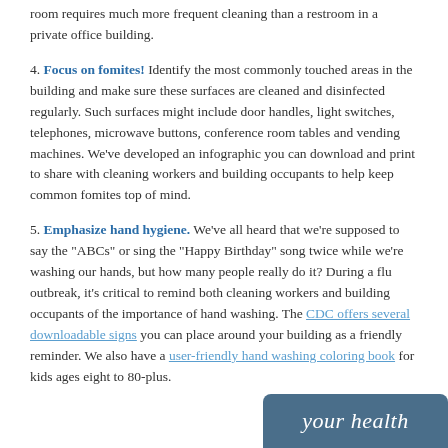room requires much more frequent cleaning than a restroom in a private office building.
4. Focus on fomites! Identify the most commonly touched areas in the building and make sure these surfaces are cleaned and disinfected regularly. Such surfaces might include door handles, light switches, telephones, microwave buttons, conference room tables and vending machines. We've developed an infographic you can download and print to share with cleaning workers and building occupants to help keep common fomites top of mind.
5. Emphasize hand hygiene. We've all heard that we're supposed to say the "ABCs" or sing the "Happy Birthday" song twice while we're washing our hands, but how many people really do it? During a flu outbreak, it's critical to remind both cleaning workers and building occupants of the importance of hand washing. The CDC offers several downloadable signs you can place around your building as a friendly reminder. We also have a user-friendly hand washing coloring book for kids ages eight to 80-plus.
[Figure (illustration): Decorative banner with cursive text reading 'your health' on a dark blue-grey background]